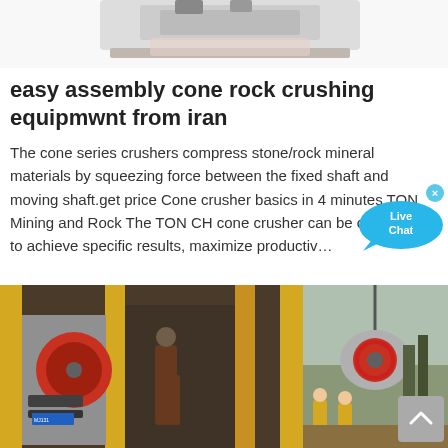[Figure (photo): Top portion of an image showing machinery/equipment on white background, partially cropped]
easy assembly cone rock crushing equipmwnt from iran
The cone series crushers compress stone/rock mineral materials by squeezing force between the fixed shaft and moving shaft.get price Cone crusher basics in 4 minutes TON Mining and Rock The TON CH cone crusher can be calibrated to achieve specific results, maximize productiv…
[Figure (photo): Left bottom image: industrial jaw crusher machine with yellow frame, red flywheel, worker in orange suit visible; Right bottom image: crane lifting crusher equipment outdoors with workers in yellow vests]